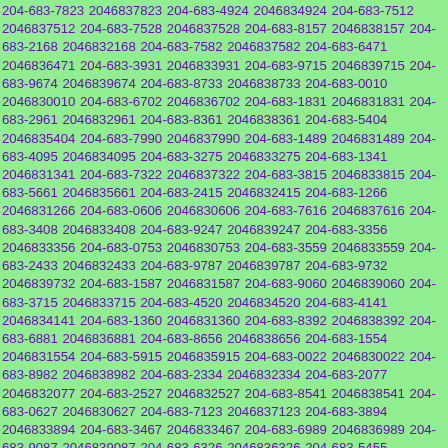204-683-7823 2046837823 204-683-4924 2046834924 204-683-7512 2046837512 204-683-7528 2046837528 204-683-8157 2046838157 204-683-2168 2046832168 204-683-7582 2046837582 204-683-6471 2046836471 204-683-3931 2046833931 204-683-9715 2046839715 204-683-9674 2046839674 204-683-8733 2046838733 204-683-0010 2046830010 204-683-6702 2046836702 204-683-1831 2046831831 204-683-2961 2046832961 204-683-8361 2046838361 204-683-5404 2046835404 204-683-7990 2046837990 204-683-1489 2046831489 204-683-4095 2046834095 204-683-3275 2046833275 204-683-1341 2046831341 204-683-7322 2046837322 204-683-3815 2046833815 204-683-5661 2046835661 204-683-2415 2046832415 204-683-1266 2046831266 204-683-0606 2046830606 204-683-7616 2046837616 204-683-3408 2046833408 204-683-9247 2046839247 204-683-3356 2046833356 204-683-0753 2046830753 204-683-3559 2046833559 204-683-2433 2046832433 204-683-9787 2046839787 204-683-9732 2046839732 204-683-1587 2046831587 204-683-9060 2046839060 204-683-3715 2046833715 204-683-4520 2046834520 204-683-4141 2046834141 204-683-1360 2046831360 204-683-8392 2046838392 204-683-6881 2046836881 204-683-8656 2046838656 204-683-1554 2046831554 204-683-5915 2046835915 204-683-0022 2046830022 204-683-8982 2046838982 204-683-2334 2046832334 204-683-2077 2046832077 204-683-2527 2046832527 204-683-8541 2046838541 204-683-0627 2046830627 204-683-7123 2046837123 204-683-3894 2046833894 204-683-3467 2046833467 204-683-6989 2046836989 204-683-9087 2046839087 204-683-6326 2046836326 204-683-5455